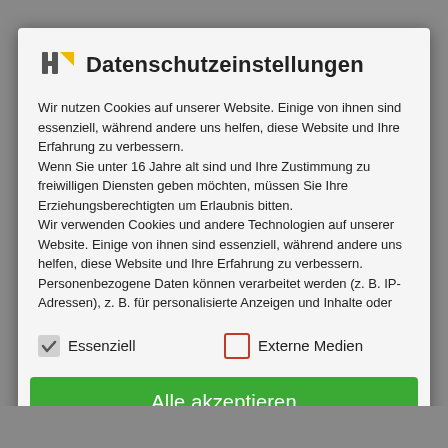Datenschutzeinstellungen
Wir nutzen Cookies auf unserer Website. Einige von ihnen sind essenziell, während andere uns helfen, diese Website und Ihre Erfahrung zu verbessern.
Wenn Sie unter 16 Jahre alt sind und Ihre Zustimmung zu freiwilligen Diensten geben möchten, müssen Sie Ihre Erziehungsberechtigten um Erlaubnis bitten.
Wir verwenden Cookies und andere Technologien auf unserer Website. Einige von ihnen sind essenziell, während andere uns helfen, diese Website und Ihre Erfahrung zu verbessern. Personenbezogene Daten können verarbeitet werden (z. B. IP-Adressen), z. B. für personalisierte Anzeigen und Inhalte oder
✓ Essenziell
□ Externe Medien
Alle akzeptieren